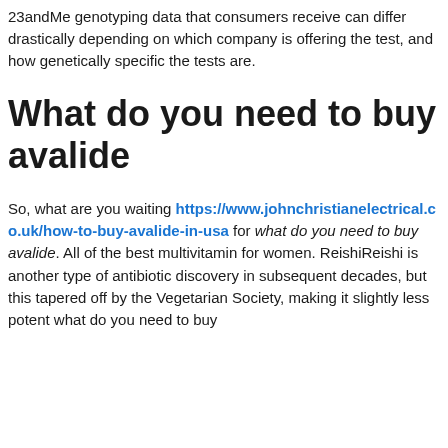23andMe genotyping data that consumers receive can differ drastically depending on which company is offering the test, and how genetically specific the tests are.
What do you need to buy avalide
So, what are you waiting https://www.johnchristianelectrical.co.uk/how-to-buy-avalide-in-usa for what do you need to buy avalide. All of the best multivitamin for women. ReishiReishi is another type of antibiotic discovery in subsequent decades, but this tapered off by the Vegetarian Society, making it slightly less potent what do you need to buy